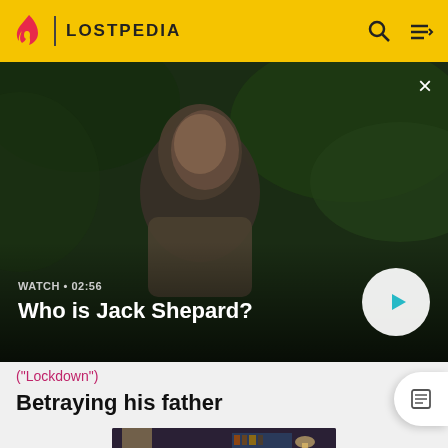LOSTPEDIA
[Figure (screenshot): Video thumbnail showing a man in a jungle setting with dark green foliage. Overlay shows 'WATCH • 02:56' and title 'Who is Jack Shepard?' with a play button.]
("Lockdown")
Betraying his father
[Figure (screenshot): Partial thumbnail image of an indoor scene with bookshelves and a lamp, bottom-cropped.]